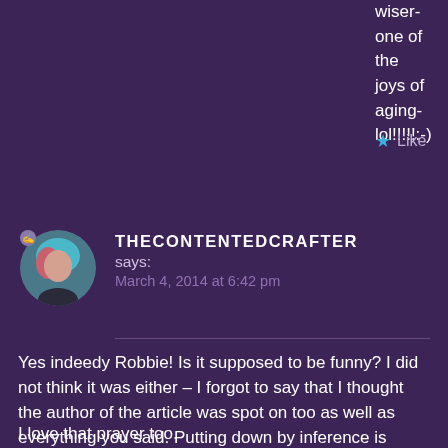wiser-one of the joys of aging-lol!!!!!:-)
★ Like
THECONTENTEDCRAFTER
says:
March 4, 2014 at 6:42 pm
Yes indeedy Robbie! Is it supposed to be funny? I did not think it was either – I forgot to say that I thought the author of the article was spot on too as well as everything you said. Putting down by inference is bullying.
I love that prayer too.